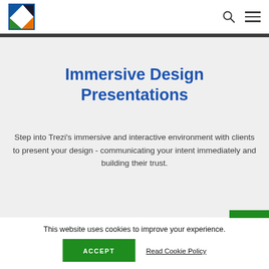[Figure (logo): Trezi logo — square icon with blue, green, and orange wedge shapes with white letter R]
Immersive Design Presentations
Step into Trezi's immersive and interactive environment with clients to present your design - communicating your intent immediately and building their trust.
This website uses cookies to improve your experience.
ACCEPT
Read Cookie Policy